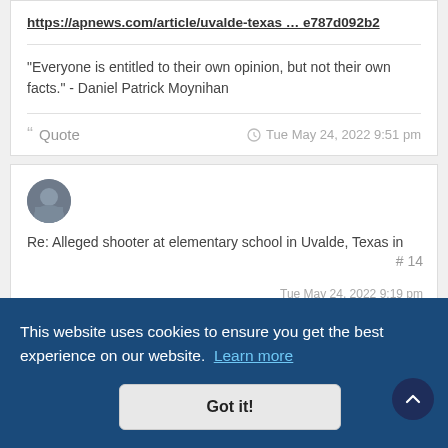https://apnews.com/article/uvalde-texas ... e787d092b2
"Everyone is entitled to their own opinion, but not their own facts." - Daniel Patrick Moynihan
Quote   Tue May 24, 2022 9:51 pm
[Figure (photo): User avatar - circular profile picture of a person]
Re: Alleged shooter at elementary school in Uvalde, Texas in
# 14
This website uses cookies to ensure you get the best experience on our website.  Learn more
Got it!
Tue May 24, 2022 9:19 pm